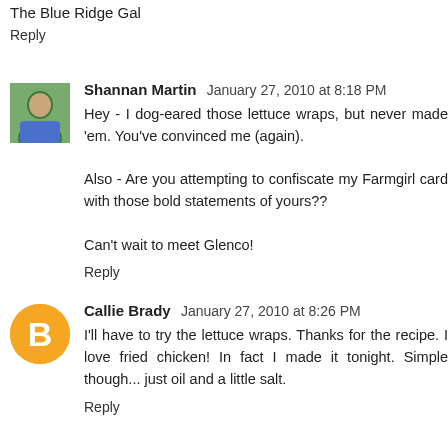The Blue Ridge Gal
Reply
Shannan Martin  January 27, 2010 at 8:18 PM
Hey - I dog-eared those lettuce wraps, but never made 'em. You've convinced me (again).

Also - Are you attempting to confiscate my Farmgirl card with those bold statements of yours??

Can't wait to meet Glenco!
Reply
Callie Brady  January 27, 2010 at 8:26 PM
I'll have to try the lettuce wraps. Thanks for the recipe. I love fried chicken! In fact I made it tonight. Simple though... just oil and a little salt.
Reply